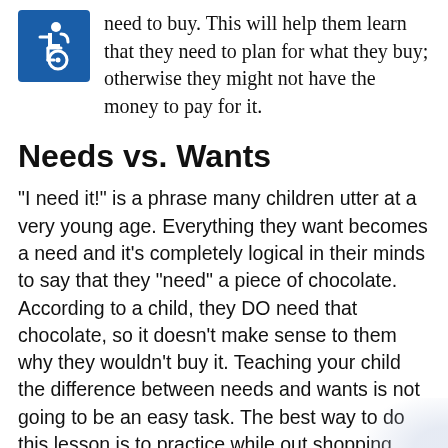need to buy. This will help them learn that they need to plan for what they buy; otherwise they might not have the money to pay for it.
[Figure (illustration): International Symbol of Access (wheelchair accessibility icon) — white figure in wheelchair on blue square background]
Needs vs. Wants
"I need it!" is a phrase many children utter at a very young age. Everything they want becomes a need and it's completely logical in their minds to say that they "need" a piece of chocolate. According to a child, they DO need that chocolate, so it doesn't make sense to them why they wouldn't buy it. Teaching your child the difference between needs and wants is not going to be an easy task. The best way to do this lesson is to practice while out shopping with your